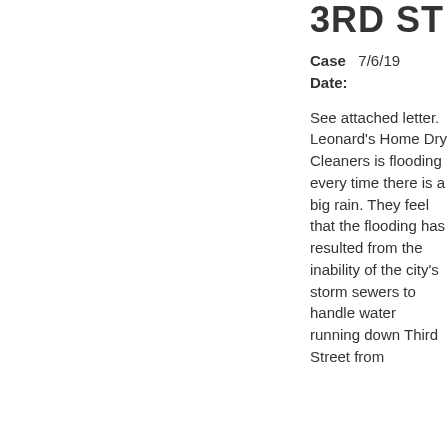3RD ST
Case Date: 7/6/19
See attached letter. Leonard's Home Dry Cleaners is flooding every time there is a big rain. They feel that the flooding has resulted from the inability of the city's storm sewers to handle water running down Third Street from